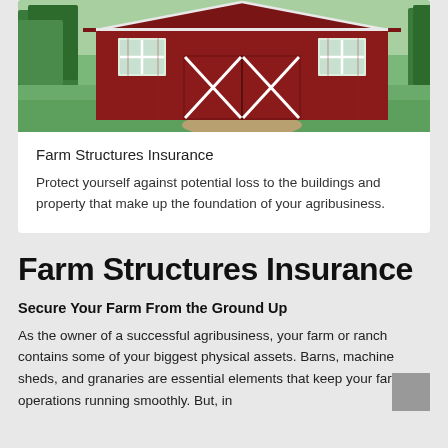[Figure (photo): Red barn with white X-pattern doors and windows set against green grass and trees]
Farm Structures Insurance
Protect yourself against potential loss to the buildings and property that make up the foundation of your agribusiness.
Farm Structures Insurance
Secure Your Farm From the Ground Up
As the owner of a successful agribusiness, your farm or ranch contains some of your biggest physical assets. Barns, machine sheds, and granaries are essential elements that keep your farming operations running smoothly. But, in